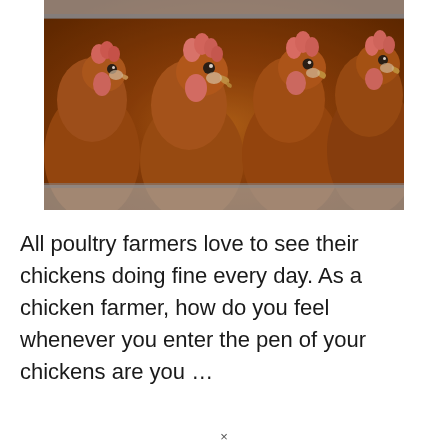[Figure (photo): Close-up photo of four brown/reddish chickens with pink combs and wattles, lined up side by side, appearing to eat from a trough in a poultry farm setting.]
All poultry farmers love to see their chickens doing fine every day. As a chicken farmer, how do you feel whenever you enter the pen of your chickens are you …
×